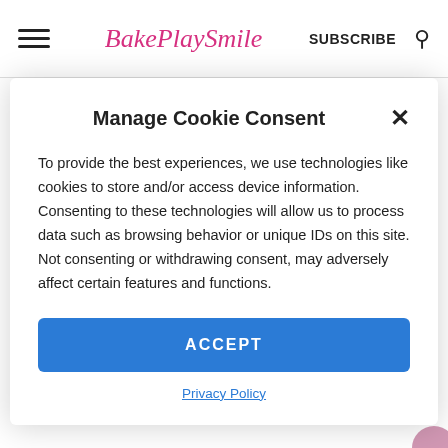BakePlaySmile | SUBSCRIBE
Manage Cookie Consent
To provide the best experiences, we use technologies like cookies to store and/or access device information. Consenting to these technologies will allow us to process data such as browsing behavior or unique IDs on this site. Not consenting or withdrawing consent, may adversely affect certain features and functions.
ACCEPT
Privacy Policy
below.
Microwave, Thermomix or Stove-